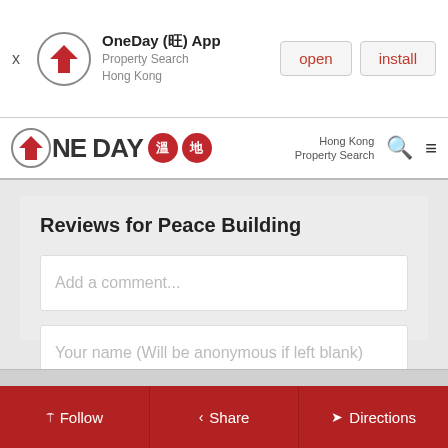[Figure (screenshot): App install banner for OneDay App - Property Search Hong Kong with open and install buttons]
[Figure (logo): OneDay Hong Kong Property Search logo with Chinese characters]
Reviews for Peace Building
Add a comment...
Your name (Will be anonymous if left blank)
SUBMIT
Follow | Share | Directions